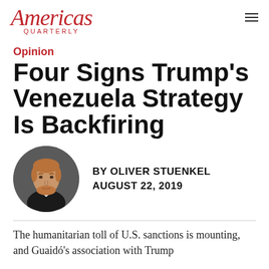Americas Quarterly
Opinion
Four Signs Trump’s Venezuela Strategy Is Backfiring
[Figure (photo): Circular headshot portrait of Oliver Stuenkel, a man with red-blonde hair and beard, wearing a white shirt and dark jacket, against a dark gray background.]
BY OLIVER STUENKEL
AUGUST 22, 2019
The humanitarian toll of U.S. sanctions is mounting, and Guaidó’s association with Trump…